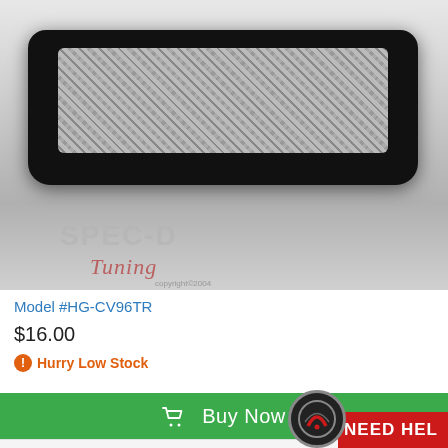[Figure (photo): Product photo of a SpecD Black Mesh Grill for Honda Civic 96-98, showing a black plastic grille with silver hexagonal mesh pattern against a light gray background. A watermark reads SPEC-D Tuning with copyright 2004.]
SpecD Black Mesh Grill Honda Civic 96-98
Model #HG-CV96TR
$16.00
Hurry Low Stock
Buy Now
[Figure (logo): Need Help badge with circular logo on left and red banner reading NEED HEL (partially visible) on the right]